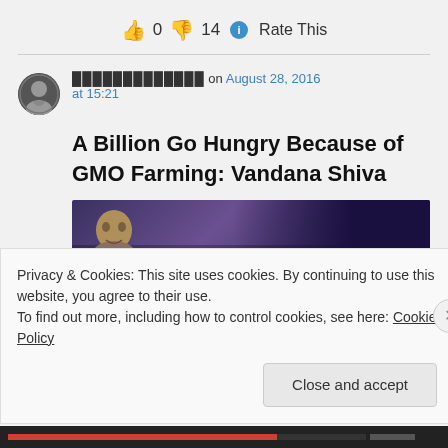👍 0 👎 14 ℹ Rate This
█████████████ on August 28, 2016 at 15:21
A Billion Go Hungry Because of GMO Farming: Vandana Shiva
[Figure (photo): Thumbnail image for article about A Billion Go Hungry Because of GMO Farming: Vandana Shiva]
Privacy & Cookies: This site uses cookies. By continuing to use this website, you agree to their use.
To find out more, including how to control cookies, see here: Cookie Policy
Close and accept